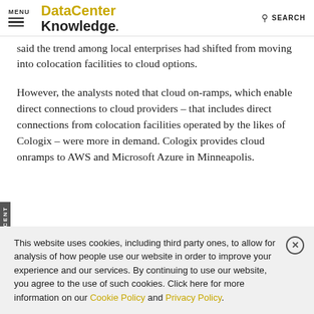MENU | DataCenter Knowledge. | SEARCH
said the trend among local enterprises had shifted from moving into colocation facilities to cloud options.
However, the analysts noted that cloud on-ramps, which enable direct connections to cloud providers – that includes direct connections from colocation facilities operated by the likes of Cologix – were more in demand. Cologix provides cloud onramps to AWS and Microsoft Azure in Minneapolis.
This website uses cookies, including third party ones, to allow for analysis of how people use our website in order to improve your experience and our services. By continuing to use our website, you agree to the use of such cookies. Click here for more information on our Cookie Policy and Privacy Policy.